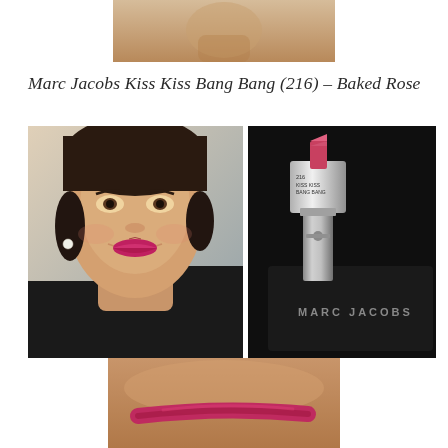[Figure (photo): Cropped close-up photo of a woman's face showing skin texture at top of page]
Marc Jacobs Kiss Kiss Bang Bang (216) – Baked Rose
[Figure (photo): Woman wearing pink-red lipstick, smiling, with pearl earring]
[Figure (photo): Marc Jacobs lipstick tube labeled '216 KISS KISS BANG BANG' in rose/pink shade on black case with MARC JACOBS branding]
[Figure (photo): Hand/wrist swatch of the Baked Rose lipstick color showing a rose-pink streak]